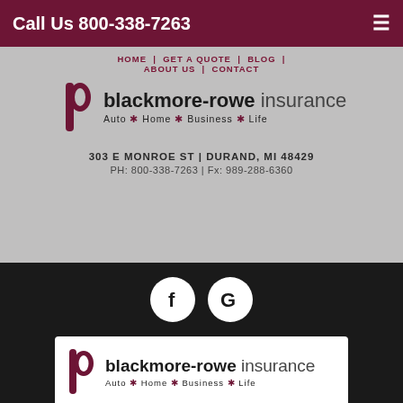Call Us 800-338-7263
[Figure (logo): Blackmore-Rowe Insurance logo with stylized P icon, text 'blackmore-rowe insurance', tagline 'Auto * Home * Business * Life']
HOME | GET A QUOTE | BLOG | ABOUT US | CONTACT
303 E MONROE ST | DURAND, MI 48429
PH: 800-338-7263 | Fx: 989-288-6360
[Figure (logo): Facebook icon - white F on white circle with dark background]
[Figure (logo): Google icon - white G on white circle with dark background]
[Figure (logo): Blackmore-Rowe Insurance logo card (white background) with stylized P icon, text 'blackmore-rowe insurance', tagline 'Auto * Home * Business * Life']
Search Our Site
Powered by Insurance Website Builder